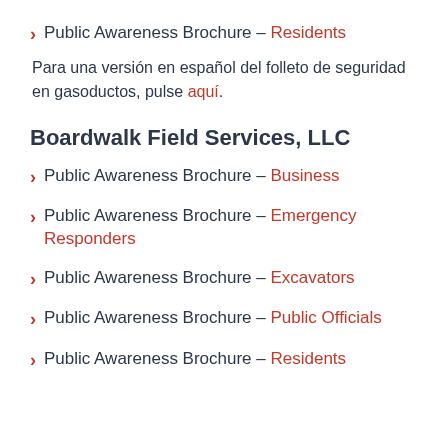Public Awareness Brochure – Residents
Para una versión en español del folleto de seguridad en gasoductos, pulse aquí.
Boardwalk Field Services, LLC
Public Awareness Brochure – Business
Public Awareness Brochure – Emergency Responders
Public Awareness Brochure – Excavators
Public Awareness Brochure – Public Officials
Public Awareness Brochure – Residents